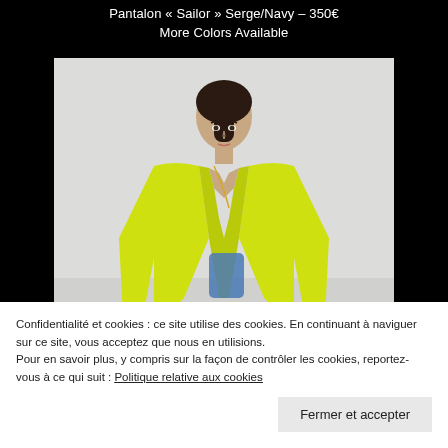Pantalon « Sailor » Serge/Navy – 350€
More Colors Available
[Figure (photo): Fashion model wearing a neon yellow-green blazer/shirt with blue denim trousers, standing against a light grey background. Model has dark hair pulled back.]
Confidentialité et cookies : ce site utilise des cookies. En continuant à naviguer sur ce site, vous acceptez que nous en utilisions.
Pour en savoir plus, y compris sur la façon de contrôler les cookies, reportez-vous à ce qui suit : Politique relative aux cookies
Fermer et accepter